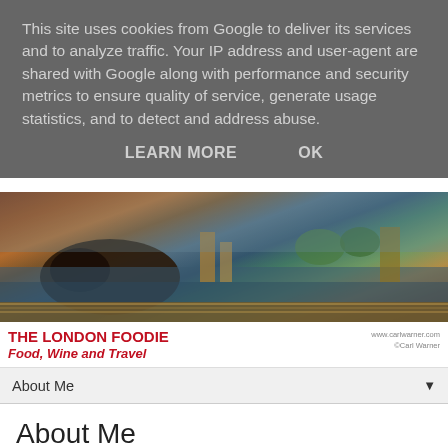This site uses cookies from Google to deliver its services and to analyze traffic. Your IP address and user-agent are shared with Google along with performance and security metrics to ensure quality of service, generate usage statistics, and to detect and address abuse.
LEARN MORE   OK
[Figure (photo): Header photo of a waterside scene with a rope in the foreground and water/harbor in the background]
THE LONDON FOODIE Food, Wine and Travel
www.carlwarner.com ©Carl Warner
About Me
About Me
Who is The London Foodie?